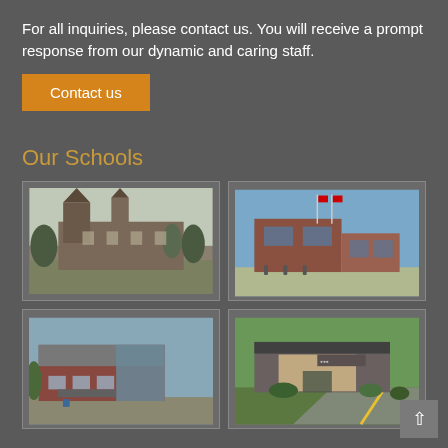For all inquiries, please contact us. You will receive a prompt response from our dynamic and caring staff.
Contact us
Our Schools
[Figure (photo): Exterior photo of a historic school building with Gothic-style architecture and church spire, surrounded by trees]
[Figure (photo): Exterior photo of a modern brick school building with Canadian and Quebec flags on flagpoles]
[Figure (photo): Exterior photo of a contemporary red brick school building with large glass windows]
[Figure (photo): Exterior photo of a school building with a driveway and landscaping, with a yellow painted road line]